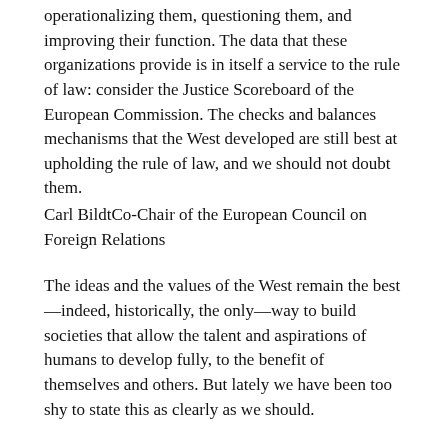operationalizing them, questioning them, and improving their function. The data that these organizations provide is in itself a service to the rule of law: consider the Justice Scoreboard of the European Commission. The checks and balances mechanisms that the West developed are still best at upholding the rule of law, and we should not doubt them.
Carl BildtCo-Chair of the European Council on Foreign Relations
The ideas and the values of the West remain the best—indeed, historically, the only—way to build societies that allow the talent and aspirations of humans to develop fully, to the benefit of themselves and others. But lately we have been too shy to state this as clearly as we should.
The success we have seen of other societies has been essentially them moving toward the values and ideas of the West. China is undoubtedly an increasingly authoritarian society in terms of its political system, but